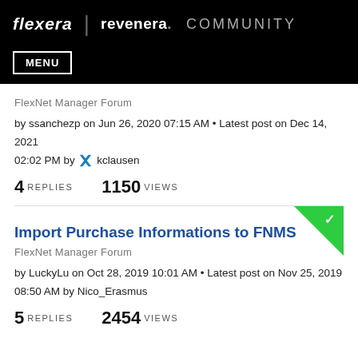Flexera | revenera. COMMUNITY
MENU
FlexNet Manager Forum
by ssanchezp on Jun 26, 2020 07:15 AM • Latest post on Dec 14, 2021 02:02 PM by kclausen
4 REPLIES   1150 VIEWS
Import Purchase Informations to FNMS
FlexNet Manager Forum
by LuckyLu on Oct 28, 2019 10:01 AM • Latest post on Nov 25, 2019 08:50 AM by Nico_Erasmus
5 REPLIES   2454 VIEWS